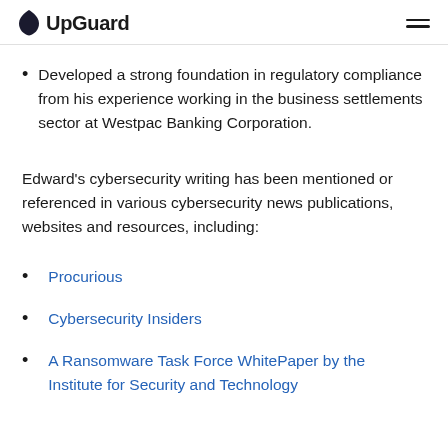UpGuard
Developed a strong foundation in regulatory compliance from his experience working in the business settlements sector at Westpac Banking Corporation.
Edward's cybersecurity writing has been mentioned or referenced in various cybersecurity news publications, websites and resources, including:
Procurious
Cybersecurity Insiders
A Ransomware Task Force WhitePaper by the Institute for Security and Technology